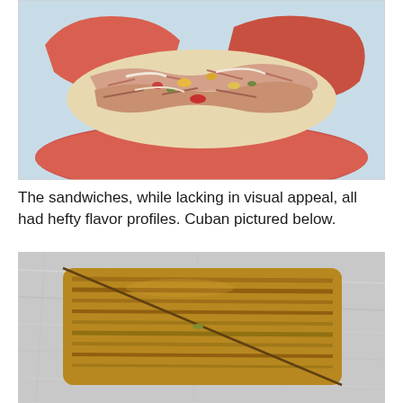[Figure (photo): Close-up photo of a sandwich cut open, showing the inside with shredded meat, cheese, and vegetables. The bread appears reddish/orange colored.]
The sandwiches, while lacking in visual appeal, all had hefty flavor profiles. Cuban pictured below.
[Figure (photo): Photo of a Cuban sandwich pressed flat, showing golden-brown grilled bread with grill marks, cut diagonally, resting on aluminum foil.]